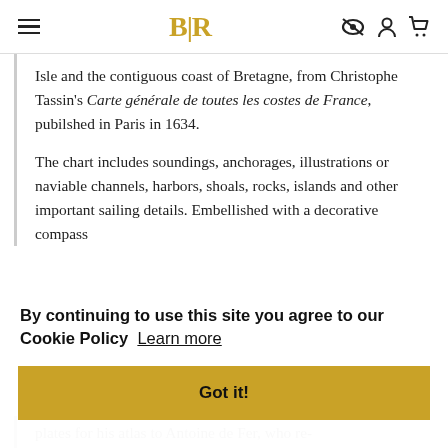BLR [logo with hamburger menu and icons]
Isle and the contiguous coast of Bretagne, from Christophe Tassin's Carte générale de toutes les costes de France, pubilshed in Paris in 1634.
The chart includes soundings, anchorages, illustrations or naviable channels, harbors, shoals, rocks, islands and other important sailing details. Embellished with a decorative compass
By continuing to use this site you agree to our Cookie Policy  Learn more
Got it!
plates for his atlas to Antoine de Fer, who re-